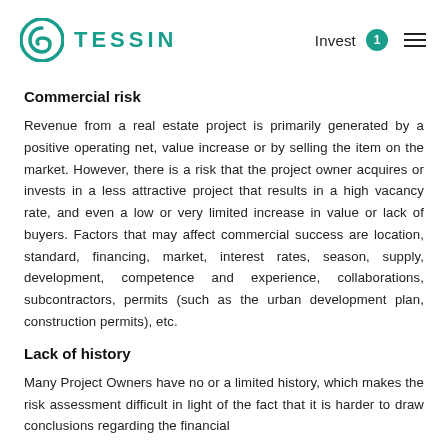TESSIN | Invest 1
Commercial risk
Revenue from a real estate project is primarily generated by a positive operating net, value increase or by selling the item on the market. However, there is a risk that the project owner acquires or invests in a less attractive project that results in a high vacancy rate, and even a low or very limited increase in value or lack of buyers. Factors that may affect commercial success are location, standard, financing, market, interest rates, season, supply, development, competence and experience, collaborations, subcontractors, permits (such as the urban development plan, construction permits), etc.
Lack of history
Many Project Owners have no or a limited history, which makes the risk assessment difficult in light of the fact that it is harder to draw conclusions regarding the financial